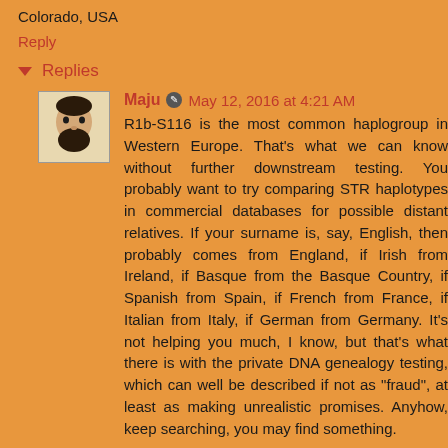Shane
Colorado, USA
Reply
Replies
Maju  May 12, 2016 at 4:21 AM
R1b-S116 is the most common haplogroup in Western Europe. That's what we can know without further downstream testing. You probably want to try comparing STR haplotypes in commercial databases for possible distant relatives. If your surname is, say, English, then probably comes from England, if Irish from Ireland, if Basque from the Basque Country, if Spanish from Spain, if French from France, if Italian from Italy, if German from Germany. It's not helping you much, I know, but that's what there is with the private DNA genealogy testing, which can well be described if not as "fraud", at least as making unrealistic promises. Anyhow, keep searching, you may find something.